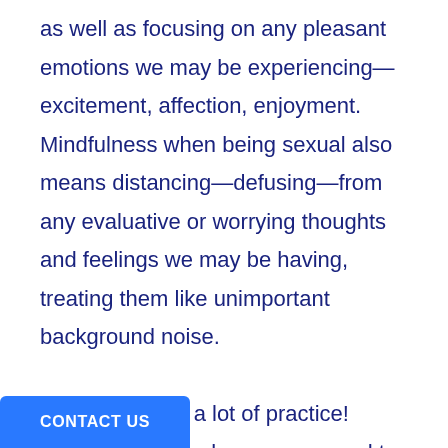as well as focusing on any pleasant emotions we may be experiencing—excitement, affection, enjoyment. Mindfulness when being sexual also means distancing—defusing—from any evaluative or worrying thoughts and feelings we may be having, treating them like unimportant background noise.

Well, this takes a lot of practice! Some of us have become so used to self-evaluating and worrying while being sexual—and often before and after being sexual, too—that it's unrealistic [to] suddenly be in the moment the